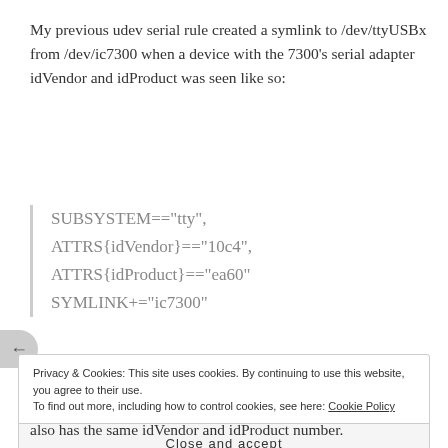My previous udev serial rule created a symlink to /dev/ttyUSBx from /dev/ic7300 when a device with the 7300's serial adapter idVendor and idProduct was seen like so:
SUBSYSTEM=="tty", ATTRS{idVendor}=="10c4", ATTRS{idProduct}=="ea60" SYMLINK+="ic7300"
Privacy & Cookies: This site uses cookies. By continuing to use this website, you agree to their use. To find out more, including how to control cookies, see here: Cookie Policy
Close and accept
also has the same idVendor and idProduct number.